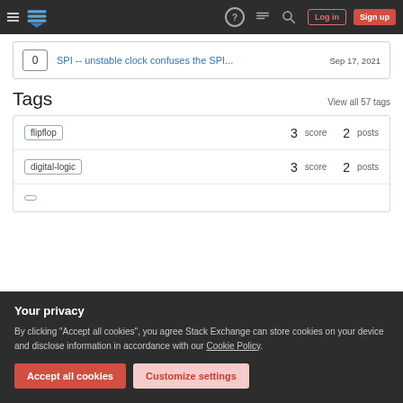Stack Exchange navigation bar with Log in and Sign up buttons
0  SPI -- unstable clock confuses the SPI...  Sep 17, 2021
Tags
View all 57 tags
flipflop  3 score  2 posts
digital-logic  3 score  2 posts
Your privacy
By clicking "Accept all cookies", you agree Stack Exchange can store cookies on your device and disclose information in accordance with our Cookie Policy.
Accept all cookies  Customize settings